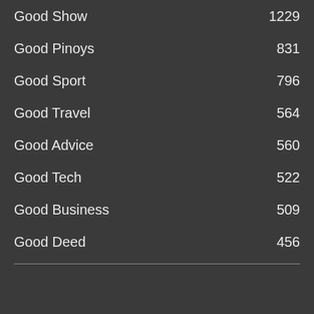Good Show 1229
Good Pinoys 831
Good Sport 796
Good Travel 564
Good Advice 560
Good Tech 522
Good Business 509
Good Deed 456